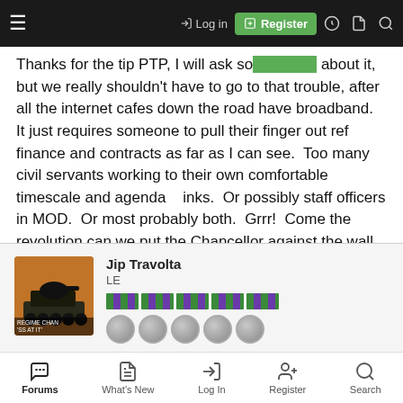Log in | Register
Thanks for the tip PTP, I will ask so... about it, but we really shouldn't have to go to that trouble, after all the internet cafes down the road have broadband.  It just requires someone to pull their finger out ref finance and contracts as far as I can see.  Too many civil servants working to their own comfortable timescale and agenda    inks.  Or possibly staff officers in MOD.  Or most probably both.  Grrr!  Come the revolution can we put the Chancellor against the wall first? Perhaps it might be a 'prudent' use of resources to save money by withdrawing his right to a blindfold as well?  😀 Gosh, that thought has cheered me up no end...
Jip Travolta
LE
Forums | What's New | Log In | Register | Search